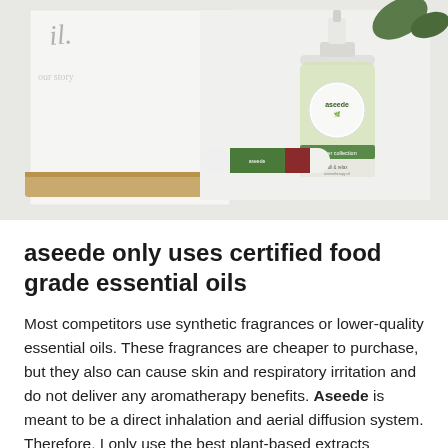[Figure (photo): Product photo showing two aseede essential oil products — a large dropper bottle with yellow-green oil and green botanical label reading 'aseede' and 'jasper collection', and a small roll-on stick with green and red label, both resting on a bamboo wood tray with white cards and plant leaves in the background.]
aseede only uses certified food grade essential oils
Most competitors use synthetic fragrances or lower-quality essential oils. These fragrances are cheaper to purchase, but they also can cause skin and respiratory irritation and do not deliver any aromatherapy benefits. Aseede is meant to be a direct inhalation and aerial diffusion system. Therefore, I only use the best plant-based extracts available...